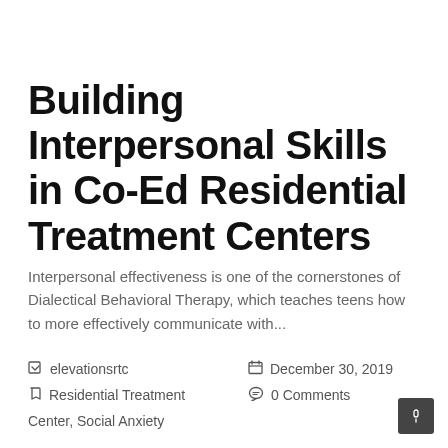Building Interpersonal Skills in Co-Ed Residential Treatment Centers
Interpersonal effectiveness is one of the cornerstones of Dialectical Behavioral Therapy, which teaches teens how to more effectively communicate with...
elevationsrtc   December 30, 2019   Residential Treatment   0 Comments   Center, Social Anxiety